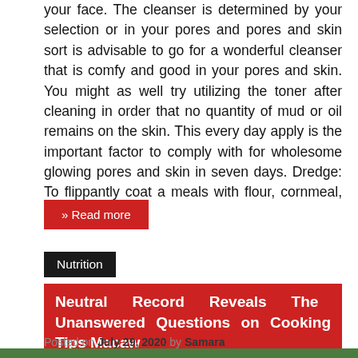your face. The cleanser is determined by your selection or in your pores and pores and skin sort is advisable to go for a wonderful cleanser that is comfy and good in your pores and skin. You might as well try utilizing the toner after cleaning in order that no quantity of mud or oil remains on the skin. This every day apply is the important factor to comply with for wholesome glowing pores and skin in seven days. Dredge: To flippantly coat a meals with flour, cornmeal, …
» Read more
Nutrition
Neutral Record Reveals The Unanswered Questions on Cooking Tips Macaw
Posted on July 29, 2020 by Samara